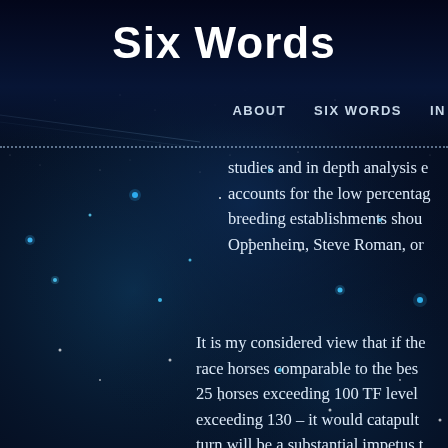Six Words
ABOUT   SIX WORDS   IN
studies and in depth analysis e accounts for the low percentage breeding establishments shou Oppenheim, Steve Roman, or
It is my considered view that if the race horses comparable to the bes 25 horses exceeding 100 TF level exceeding 130 – it would catapult turn will be a substantial impetus t aspect of the game. And if the Go